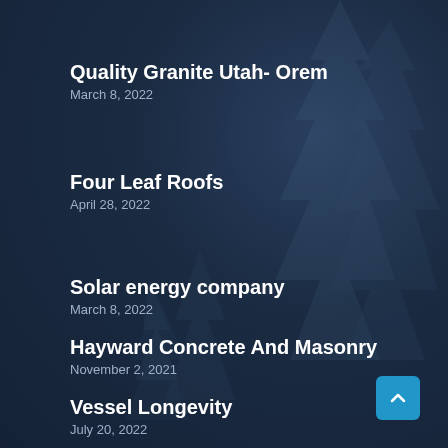Quality Granite Utah- Orem
March 8, 2022
Four Leaf Roofs
April 28, 2022
Solar energy company
March 8, 2022
Hayward Concrete And Masonry
November 2, 2021
Vessel Longevity
July 20, 2022